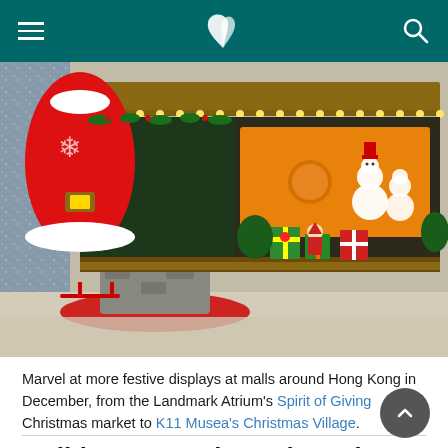Cathay Pacific navigation bar
[Figure (photo): Indoor Christmas market display at a Hong Kong mall (likely K11 Musea or Landmark Atrium). Features a large inflatable Santa suit in red, a festively lit wooden market stall with warm yellow lighting, Christmas decorations, snowman figures, wrapped gifts, elves, and floral arrangements. Red circular base in foreground. Sparkly wall on left.]
Marvel at more festive displays at malls around Hong Kong in December, from the Landmark Atrium's Spirit of Giving Christmas market to K11 Musea's Christmas Village.
Holiday at Local Hotels and Attractions